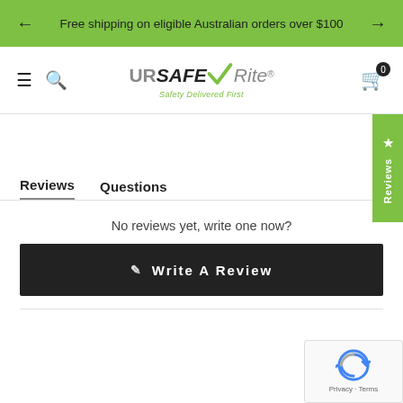Free shipping on eligible Australian orders over $100
[Figure (logo): URSAFERite logo with green checkmark and tagline 'Safety Delivered First']
Reviews   Questions
No reviews yet, write one now?
Write A Review
[Figure (other): Google reCAPTCHA widget with Privacy and Terms links]